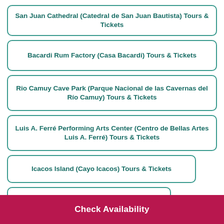San Juan Cathedral (Catedral de San Juan Bautista) Tours & Tickets
Bacardi Rum Factory (Casa Bacardi) Tours & Tickets
Rio Camuy Cave Park (Parque Nacional de las Cavernas del Río Camuy) Tours & Tickets
Luis A. Ferré Performing Arts Center (Centro de Bellas Artes Luis A. Ferré) Tours & Tickets
Icacos Island (Cayo Icacos) Tours & Tickets
Paseo de la Princesa Tours & Tickets
Check Availability